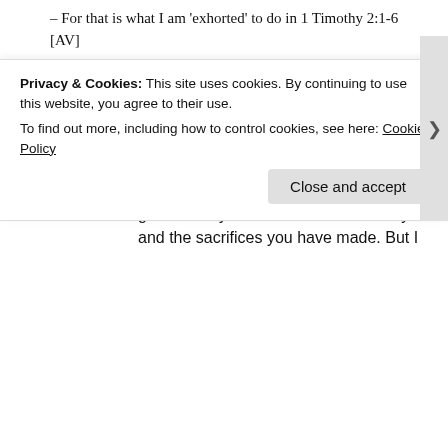– For that is what I am 'exhorted' to do in 1 Timothy 2:1-6 [AV]
.
Liked by 1 person
Reply
October 4, 2019 at 10:55 AM
Steve
My dear brother Nick . . . I'm so very grateful for your service to this country and the sacrifices you have made. But I
Privacy & Cookies: This site uses cookies. By continuing to use this website, you agree to their use. To find out more, including how to control cookies, see here: Cookie Policy
Close and accept